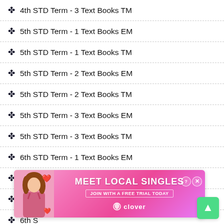4th STD Term - 3 Text Books TM
5th STD Term - 1 Text Books EM
5th STD Term - 1 Text Books TM
5th STD Term - 2 Text Books EM
5th STD Term - 2 Text Books TM
5th STD Term - 3 Text Books EM
5th STD Term - 3 Text Books TM
6th STD Term - 1 Text Books EM
6th STD Term - 1 Text Books TM
6th STD Term - 2 Text Books EM
6th S[partially obscured]
6th S[partially obscured]
6th STD Term - 3 Text Books TM
6th Term - 1 Text Books EM
[Figure (screenshot): Advertisement overlay: 'MEET LOCAL SINGLES - JOIN WITH A FREE TRIAL TODAY' with Clover branding, pink/gradient background, woman photo on left, close and help buttons top right.]